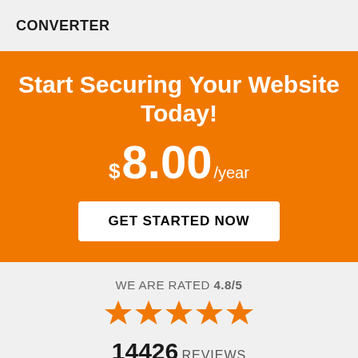CONVERTER
Start Securing Your Website Today!
$8.00 /year
GET STARTED NOW
WE ARE RATED 4.8/5
[Figure (other): Five orange star rating icons]
14426 REVIEWS
Real customer ratings and reviews at